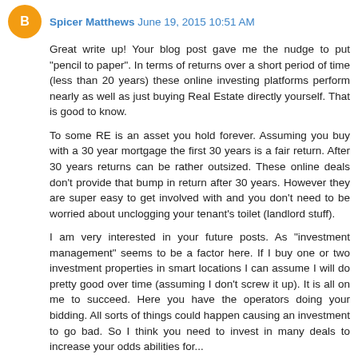Spicer Matthews  June 19, 2015 10:51 AM
Great write up! Your blog post gave me the nudge to put "pencil to paper". In terms of returns over a short period of time (less than 20 years) these online investing platforms perform nearly as well as just buying Real Estate directly yourself. That is good to know.
To some RE is an asset you hold forever. Assuming you buy with a 30 year mortgage the first 30 years is a fair return. After 30 years returns can be rather outsized. These online deals don't provide that bump in return after 30 years. However they are super easy to get involved with and you don't need to be worried about unclogging your tenant's toilet (landlord stuff).
I am very interested in your future posts. As "investment management" seems to be a factor here. If I buy one or two investment properties in smart locations I can assume I will do pretty good over time (assuming I don't screw it up). It is all on me to succeed. Here you have the operators doing your bidding. All sorts of things could happen causing an investment to go bad. So I think you need to invest in many deals to increase your odds abilities for...